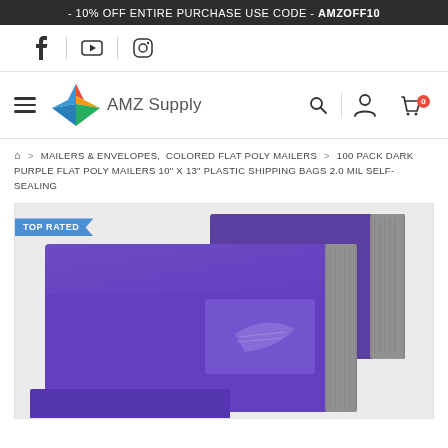- 10% OFF ENTIRE PURCHASE USE CODE - AMZOFF10
[Figure (logo): AMZ Supply logo with colorful star/arrow icon and text 'AMZ Supply']
MAILERS & ENVELOPES, COLORED FLAT POLY MAILERS > 100 PACK DARK PURPLE FLAT POLY MAILERS 10" X 13" PLASTIC SHIPPING BAGS 2.0 MIL SELF-SEALING
[Figure (photo): Dark purple flat poly mailer shipping bags stacked, showing self-sealing strip on the right side. TOP RATED badge in upper left.]